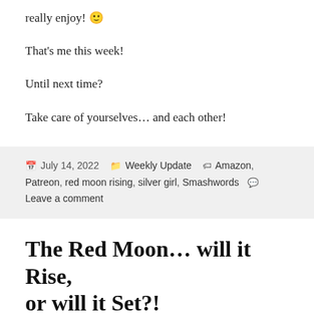really enjoy! 🙂
That's me this week!
Until next time?
Take care of yourselves… and each other!
July 14, 2022  Weekly Update  Amazon, Patreon, red moon rising, silver girl, Smashwords  Leave a comment
The Red Moon… will it Rise, or will it Set?!
Hello again, everyone!
This bl... (truncated)